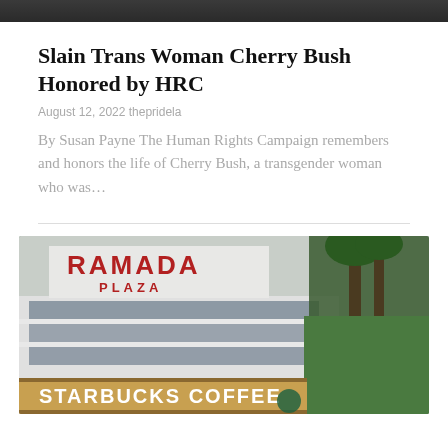[Figure (photo): Top portion of a photo, showing dark background, cropped person]
Slain Trans Woman Cherry Bush Honored by HRC
August 12, 2022 thepridela
By Susan Payne The Human Rights Campaign remembers and honors the life of Cherry Bush, a transgender woman who was...
[Figure (photo): Exterior photo of a Ramada Plaza building with a Starbucks Coffee sign visible at the bottom, palm trees and green hedges on the right side]